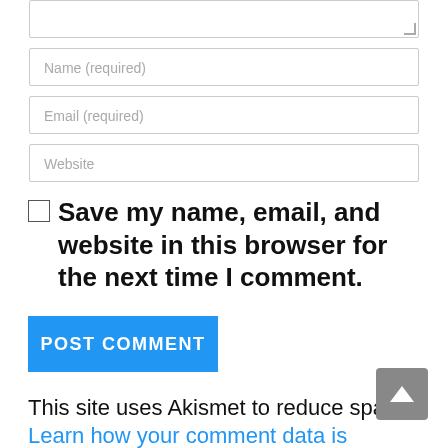[Figure (screenshot): Partial textarea input field (top portion visible, resize handle in bottom right)]
Name (required)
Email (required)
Website
Save my name, email, and website in this browser for the next time I comment.
POST COMMENT
This site uses Akismet to reduce spam. Learn how your comment data is processed.